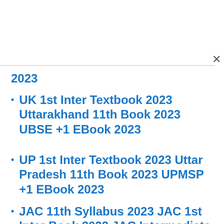2023
UK 1st Inter Textbook 2023 Uttarakhand 11th Book 2023 UBSE +1 EBook 2023
UP 1st Inter Textbook 2023 Uttar Pradesh 11th Book 2023 UPMSP +1 EBook 2023
JAC 11th Syllabus 2023 JAC 1st Inter Book 2023 JAC Intermediate